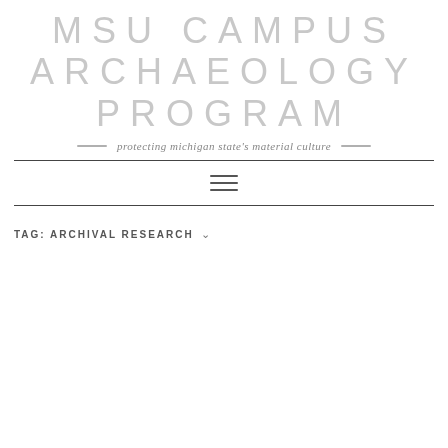MSU CAMPUS ARCHAEOLOGY PROGRAM
protecting michigan state's material culture
TAG: ARCHIVAL RESEARCH